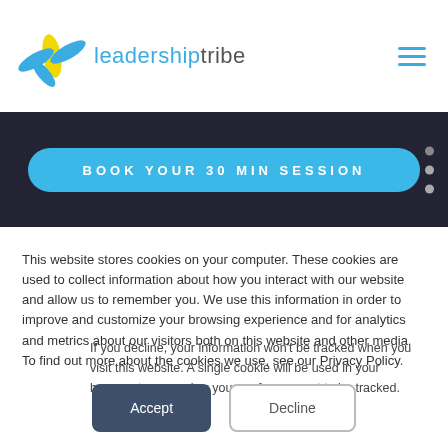leadershiptribe
[Figure (screenshot): BOOK YOUR 30 MIN SESSION banner button on dark background with navigation dots]
This website stores cookies on your computer. These cookies are used to collect information about how you interact with our website and allow us to remember you. We use this information in order to improve and customize your browsing experience and for analytics and metrics about our visitors both on this website and other media. To find out more about the cookies we use, see our Privacy Policy.
If you decline, your information won't be tracked when you visit this website. A single cookie will be used in your browser to remember your preference not to be tracked.